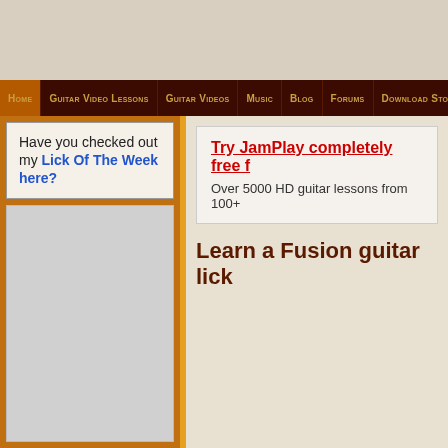Home | Guitar Video Lessons | Guitar Videos | Music | Blog | Forums | Download Stor
Have you checked out my Lick Of The Week here?
Try JamPlay completely free f
Over 5000 HD guitar lessons from 100+
Learn a Fusion guitar lick